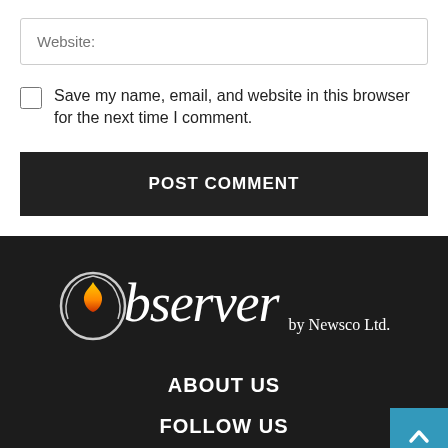Website:
Save my name, email, and website in this browser for the next time I comment.
POST COMMENT
[Figure (logo): Observer by Newsco Ltd. logo with flame icon inside the O]
ABOUT US
FOLLOW US